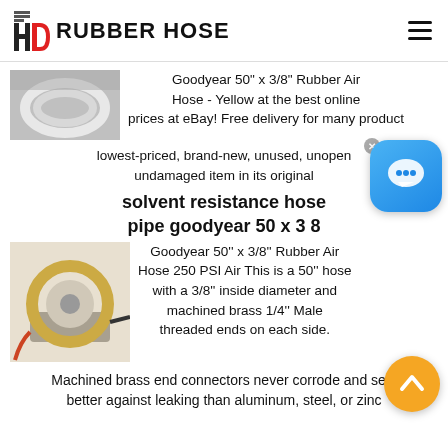HD RUBBER HOSE
[Figure (photo): Rubber hose coil on dark background]
Goodyear 50" x 3/8" Rubber Air Hose - Yellow at the best online prices at eBay! Free delivery for many product! The lowest-priced, brand-new, unused, unopened, undamaged item in its original
solvent resistance hose pipe goodyear 50 x 3 8
[Figure (photo): Yellow rubber hose on a reel/spool dispenser]
Goodyear 50'' x 3/8'' Rubber Air Hose 250 PSI Air This is a 50'' hose with a 3/8'' inside diameter and machined brass 1/4'' Male threaded ends on each side.
Machined brass end connectors never corrode and seal better against leaking than aluminum, steel, or zinc